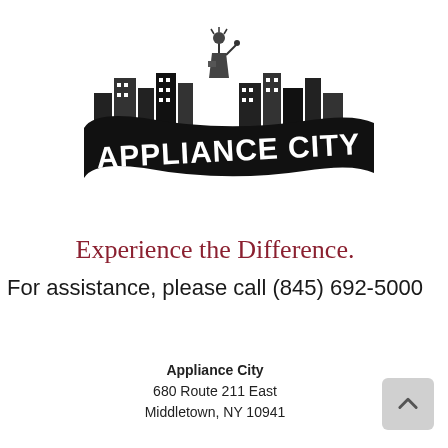[Figure (logo): Appliance City logo: black and white illustration showing city skyline with Statue of Liberty, and a bold banner reading APPLIANCE CITY in large white letters on a black swooping ribbon]
Experience the Difference.
For assistance, please call (845) 692-5000
Appliance City
680 Route 211 East
Middletown, NY 10941